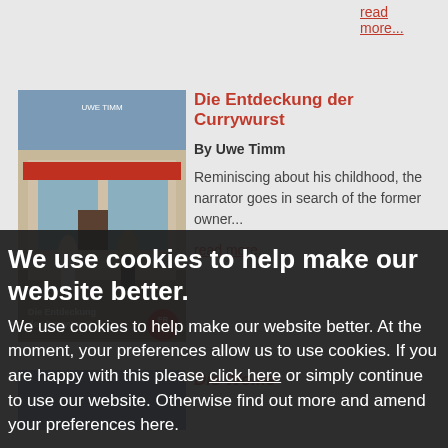read more...
Die Entdeckung der Currywurst
By Uwe Timm
Reminiscing about his childhood, the narrator goes in search of the former owner...
read more...
[Figure (photo): Book cover of 'Die Entdeckung der Currywurst' showing a street scene with people in front of a shop]
Die Wolke
We use cookies to help make our website better.
We use cookies to help make our website better. At the moment, your preferences allow us to use cookies. If you are happy with this please click here or simply continue to use our website. Otherwise find out more and amend your preferences here.